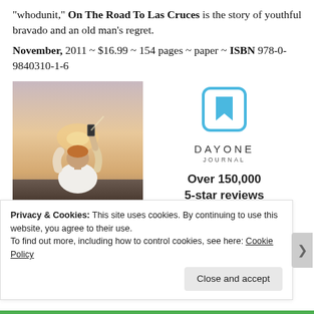“whodunit,” On The Road To Las Cruces is the story of youthful bravado and an old man’s regret.
November, 2011 ~ $16.99 ~ 154 pages ~ paper ~ ISBN 978-0-9840310-1-6
[Figure (photo): A person standing with back to camera, holding up a phone, against a sunset sky backdrop]
[Figure (logo): Day One Journal app logo: bookmark icon in cyan square, text DAYONE JOURNAL, Over 150,000 5-star reviews, five stars, Get the app button]
Privacy & Cookies: This site uses cookies. By continuing to use this website, you agree to their use. To find out more, including how to control cookies, see here: Cookie Policy
Close and accept